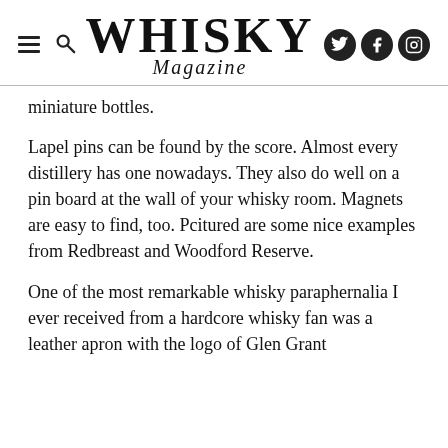Whisky Magazine
miniature bottles.
Lapel pins can be found by the score. Almost every distillery has one nowadays. They also do well on a pin board at the wall of your whisky room. Magnets are easy to find, too. Pcitured are some nice examples from Redbreast and Woodford Reserve.
One of the most remarkable whisky paraphernalia I ever received from a hardcore whisky fan was a leather apron with the logo of Glen Grant